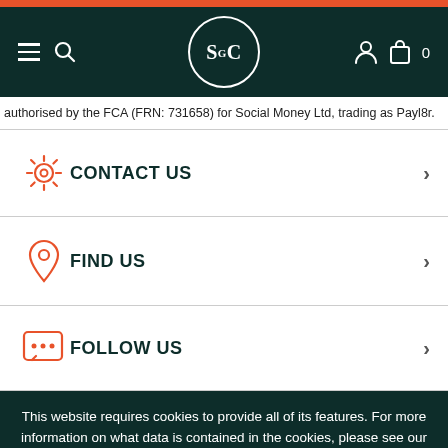SGC navigation header with hamburger menu, search icon, SGC logo, user icon, bag icon, and cart count 0
authorised by the FCA (FRN: 731658) for Social Money Ltd, trading as Payl8r.
CONTACT US
FIND US
FOLLOW US
This website requires cookies to provide all of its features. For more information on what data is contained in the cookies, please see our Privacy Policy page. To accept cookies from this site, please click the Allow button below.
ALLOW